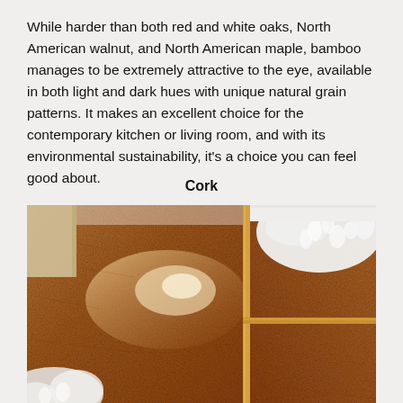While harder than both red and white oaks, North American walnut, and North American maple, bamboo manages to be extremely attractive to the eye, available in both light and dark hues with unique natural grain patterns. It makes an excellent choice for the contemporary kitchen or living room, and with its environmental sustainability, it's a choice you can feel good about.
Cork
[Figure (photo): Photo of cork flooring in a room setting, showing warm brown textured cork floor with natural light reflections, a white fluffy rug or sheepskin, wooden chair legs, and a white baseboard. The cork floor has a distinctive speckled, granular texture in reddish-brown tones.]